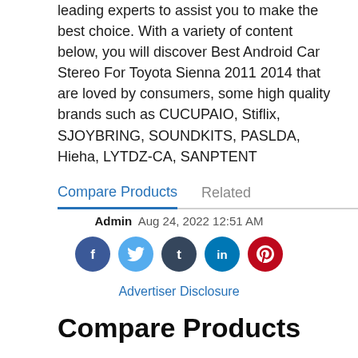leading experts to assist you to make the best choice. With a variety of content below, you will discover Best Android Car Stereo For Toyota Sienna 2011 2014 that are loved by consumers, some high quality brands such as CUCUPAIO, Stiflix, SJOYBRING, SOUNDKITS, PASLDA, Hieha, LYTDZ-CA, SANPTENT
Compare Products	Related
Admin  Aug 24, 2022 12:51 AM
[Figure (infographic): Social media share icons: Facebook (blue), Twitter (light blue), Tumblr (dark navy), LinkedIn (teal blue), Pinterest (red)]
Advertiser Disclosure
Compare Products